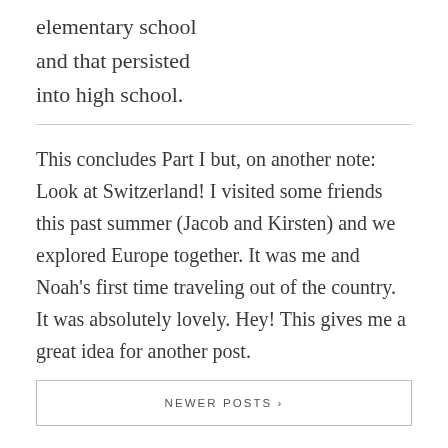elementary school and that persisted into high school.
This concludes Part I but, on another note: Look at Switzerland! I visited some friends this past summer (Jacob and Kirsten) and we explored Europe together. It was me and Noah’s first time traveling out of the country. It was absolutely lovely. Hey! This gives me a great idea for another post.
NEWER POSTS ›